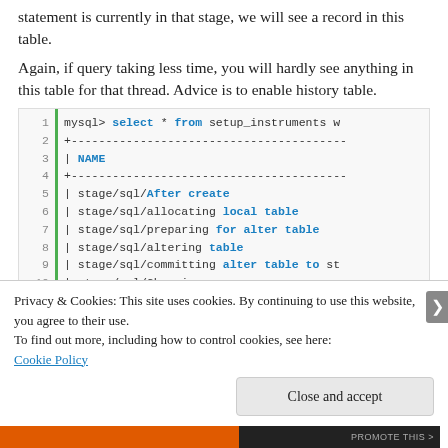statement is currently in that stage, we will see a record in this table.
Again, if query taking less time, you will hardly see anything in this table for that thread. Advice is to enable history table.
[Figure (screenshot): MySQL terminal code block showing lines 1-9+ of a query: 'mysql> select * from setup_instruments w' with results showing stage/sql entries including After create, allocating local table, preparing for alter table, altering table, committing alter table to st]
Privacy & Cookies: This site uses cookies. By continuing to use this website, you agree to their use.
To find out more, including how to control cookies, see here:
Cookie Policy
Close and accept